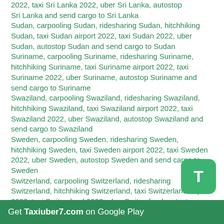2022, taxi Sri Lanka 2022, uber Sri Lanka, autostop Sri Lanka and send cargo to Sri Lanka
Sudan, carpooling Sudan, ridesharing Sudan, hitchhiking Sudan, taxi Sudan airport 2022, taxi Sudan 2022, uber Sudan, autostop Sudan and send cargo to Sudan
Suriname, carpooling Suriname, ridesharing Suriname, hitchhiking Suriname, taxi Suriname airport 2022, taxi Suriname 2022, uber Suriname, autostop Suriname and send cargo to Suriname
Swaziland, carpooling Swaziland, ridesharing Swaziland, hitchhiking Swaziland, taxi Swaziland airport 2022, taxi Swaziland 2022, uber Swaziland, autostop Swaziland and send cargo to Swaziland
Sweden, carpooling Sweden, ridesharing Sweden, hitchhiking Sweden, taxi Sweden airport 2022, taxi Sweden 2022, uber Sweden, autostop Sweden and send cargo to Sweden
Switzerland, carpooling Switzerland, ridesharing Switzerland, hitchhiking Switzerland, taxi Switzerland airport 2022, taxi Switzerland 2022, uber Switzerland, autostop Switzerland and send cargo to Switzerland
Suisse, carpooling Suisse, ridesharing Suisse, hitchhiking Suisse, taxi Suisse airport 2022, taxi Suisse 2022, uber Suisse, autostop Suisse and send cargo to Suisse
Get Taxiuber7.com on Google Play